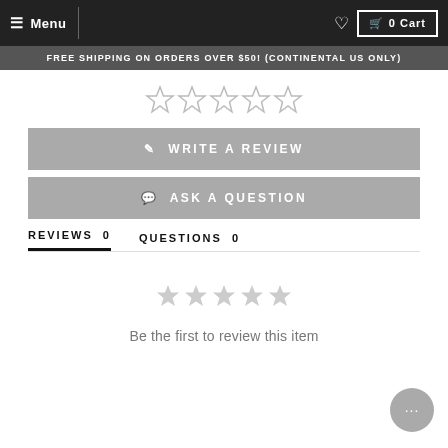Menu  ♡  0 Cart
FREE SHIPPING ON ORDERS OVER $50! (CONTINENTAL US ONLY)
[Figure (other): Five empty star rating icons]
WRITE A REVIEW
ASK A QUESTION
REVIEWS 0   QUESTIONS 0
[Figure (other): Five gray star icons for empty review state]
Be the first to review this item
[Figure (other): Gray chat bubble with ellipsis icon]